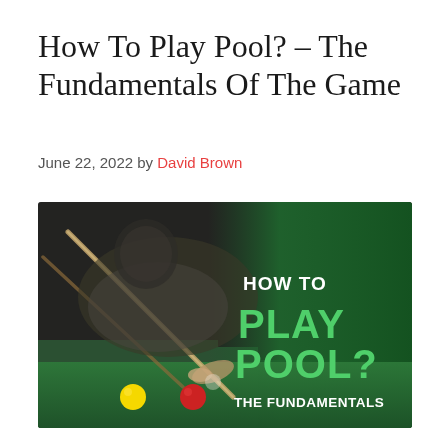How To Play Pool? – The Fundamentals Of The Game
June 22, 2022 by David Brown
[Figure (photo): A man leaning over a pool table, aiming a cue stick at balls on the green felt. On the right side of the image, large bold white and green text reads: HOW TO PLAY POOL? THE FUNDAMENTALS, overlaid on a dark green gradient background.]